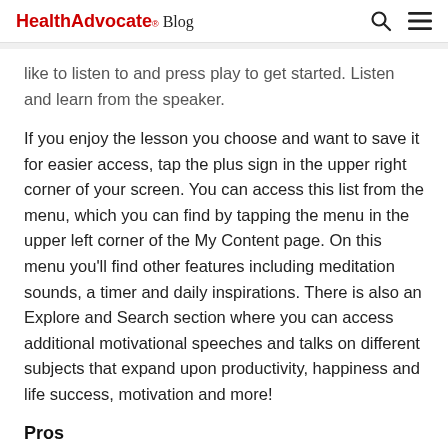HealthAdvocate Blog
like to listen to and press play to get started. Listen and learn from the speaker.
If you enjoy the lesson you choose and want to save it for easier access, tap the plus sign in the upper right corner of your screen. You can access this list from the menu, which you can find by tapping the menu in the upper left corner of the My Content page. On this menu you'll find other features including meditation sounds, a timer and daily inspirations. There is also an Explore and Search section where you can access additional motivational speeches and talks on different subjects that expand upon productivity, happiness and life success, motivation and more!
Pros